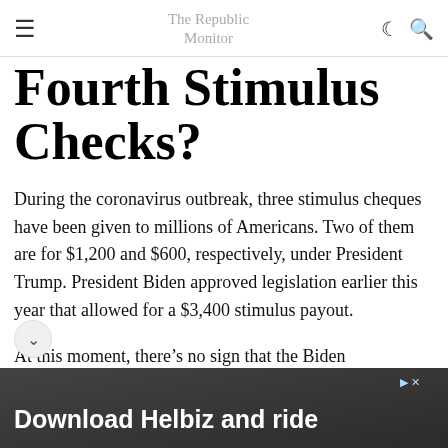The Republic Monitor
Fourth Stimulus Checks?
During the coronavirus outbreak, three stimulus cheques have been given to millions of Americans. Two of them are for $1,200 and $600, respectively, under President Trump. President Biden approved legislation earlier this year that allowed for a $3,400 stimulus payout.
At this moment, there's no sign that the Biden administration will push for further stimulus money. The dent and his press secretary have not mentioned
[Figure (photo): Advertisement banner with dark background showing handlebar of a vehicle, text reads 'Download Helbiz and ride']